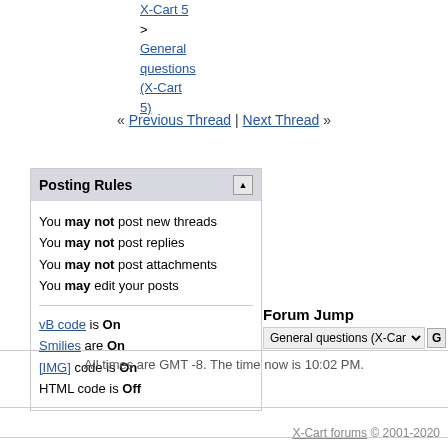X-Cart 5 > General questions (X-Cart 5)
« Previous Thread | Next Thread »
Posting Rules
You may not post new threads
You may not post replies
You may not post attachments
You may edit your posts
vB code is On
Smilies are On
[IMG] code is On
HTML code is Off
Forum Jump
General questions (X-Cart 5)
All times are GMT -8. The time now is 10:02 PM.
X-Cart forums © 2001-2020